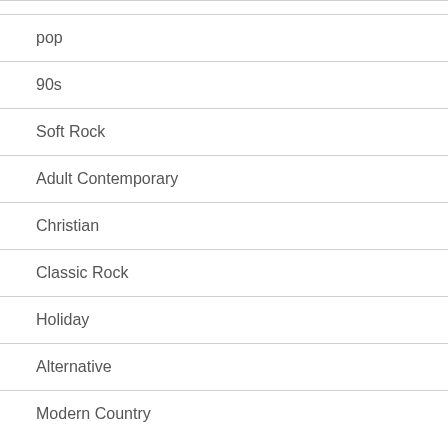pop
90s
Soft Rock
Adult Contemporary
Christian
Classic Rock
Holiday
Alternative
Modern Country